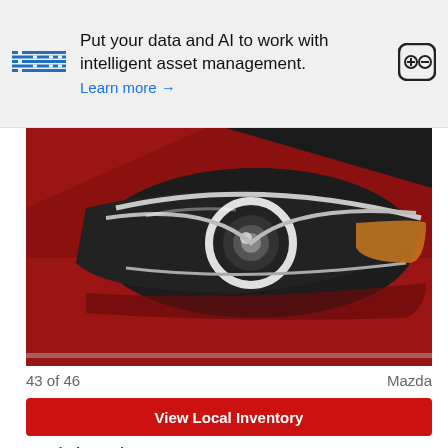[Figure (other): IBM advertisement banner with IBM logo, text 'Put your data and AI to work with intelligent asset management. Learn more →', and close/expand button icon]
[Figure (photo): Close-up photo of a red Mazda car headlight with silver accents and angular styling]
43 of 46	Mazda
View Local Inventory
Read First Take